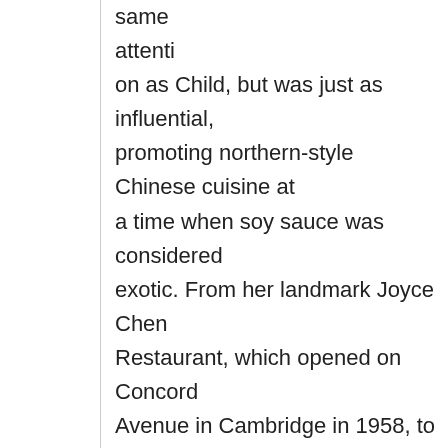same attenti on as Child, but was just as influential, promoting northern-style Chinese cuisine at a time when soy sauce was considered exotic. From her landmark Joyce Chen Restaurant, which opened on Concord Avenue in Cambridge in 1958, to her cookbooks and trailblazing PBS television show, Chen introduced unfamiliar dishes such as Peking duck, moo shu pork, and hot-and-sour soup.

At her restaurant, Chen popularized the now ubiquitous buffet-style dinner service. Through her popular cooking classes and